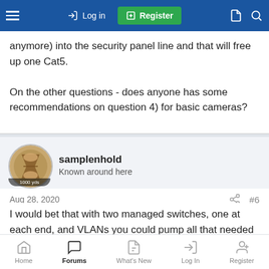Log in | Register
anymore) into the security panel line and that will free up one Cat5.
On the other questions - does anyone has some recommendations on question 4) for basic cameras?
samplenhold
Known around here
Aug 28, 2020  #6
I would bet that with two managed switches, one at each end, and VLANs you could pump all that needed through the one Cat5. But I do not know that much about networking. Maybe @mat200 @Holbs @sebastiantombs or others could help on
Home  Forums  What's New  Log In  Register